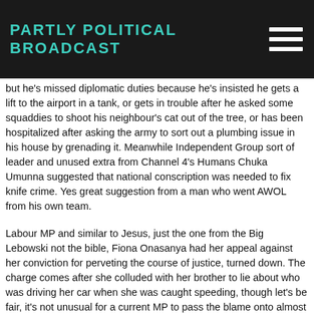PARTLY POLITICAL BROADCAST
but he's missed diplomatic duties because he's insisted he gets a lift to the airport in a tank, or gets in trouble after he asked some squaddies to shoot his neighbour's cat out of the tree, or has been hospitalized after asking the army to sort out a plumbing issue in his house by grenading it. Meanwhile Independent Group sort of leader and unused extra from Channel 4's Humans Chuka Umunna suggested that national conscription was needed to fix knife crime. Yes great suggestion from a man who went AWOL from his own team.
Labour MP and similar to Jesus, just the one from the Big Lebowski not the bible, Fiona Onasanya had her appeal against her conviction for perveting the course of justice, turned down. The charge comes after she colluded with her brother to lie about who was driving her car when she was caught speeding, though let's be fair, it's not unusual for a current MP to pass the blame onto almost anyone else. Challenging the decision, Onasanya a former practicing solicitor, decided to represent herself but turned up without any notes which probably didn't help her case when it looks like she was hoping to race through it. A recall petition for her seat in Peterborough could now be in place, which could